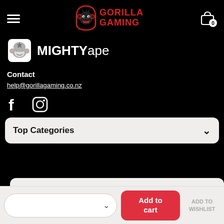[Figure (logo): Gorilla Gaming logo with gorilla icon and red bold text 'GORILLA GAMING']
[Figure (logo): Mighty Ape logo with cartoon ape icon and text 'MIGHTYape']
Contact
help@gorillagaming.co.nz
[Figure (illustration): Facebook and Instagram social media icons]
Top Categories
Top Brands
Add to cart
ADD TO WISHLIST